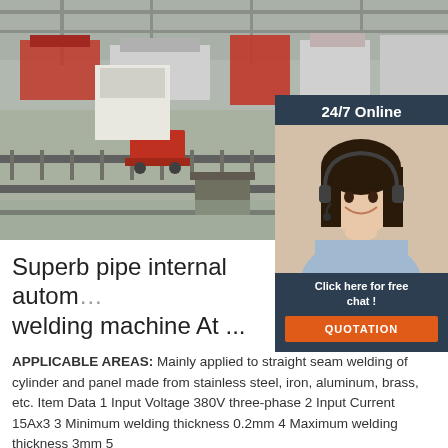[Figure (photo): Industrial factory floor with welding/pipe processing machinery, metal tracks and equipment visible, warehouse setting with overhead cranes]
[Figure (photo): 24/7 Online customer service representative — woman with headset smiling, with 'Click here for free chat!' text and orange QUOTATION button on dark navy background]
Superb pipe internal autom… welding machine At ...
APPLICABLE AREAS: Mainly applied to straight seam welding of cylinder and panel made from stainless steel, iron, aluminum, brass, etc. Item Data 1 Input Voltage 380V three-phase 2 Input Current 15Ax3 3 Minimum welding thickness 0.2mm 4 Maximum welding thickness 3mm 5